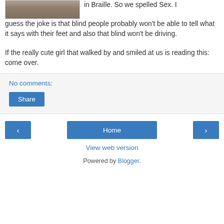[Figure (photo): Partial photo of ground with rocks/gravel, cut off at top of page]
in Braille. So we spelled Sex. I guess the joke is that blind people probably won't be able to tell what it says with their feet and also that blind won't be driving.
If the really cute girl that walked by and smiled at us is reading this: come over.
No comments:
Share
Home
View web version
Powered by Blogger.